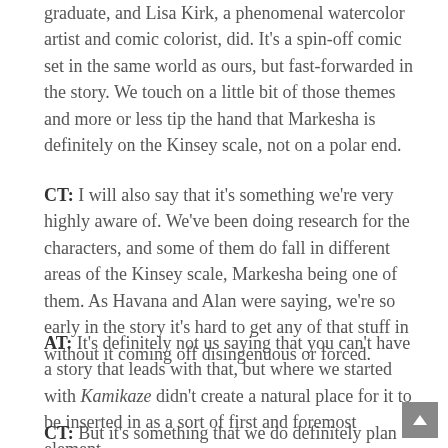graduate, and Lisa Kirk, a phenomenal watercolor artist and comic colorist, did. It's a spin-off comic set in the same world as ours, but fast-forwarded in the story. We touch on a little bit of those themes and more or less tip the hand that Markesha is definitely on the Kinsey scale, not on a polar end.
CT: I will also say that it's something we're very highly aware of. We've been doing research for the characters, and some of them do fall in different areas of the Kinsey scale, Markesha being one of them. As Havana and Alan were saying, we're so early in the story it's hard to get any of that stuff in without it coming off disingenuous or forced.
AT: It's definitely not us saying that you can't have a story that leads with that, but where we started with Kamikaze didn't create a natural place for it to be inserted in as a sort of first and foremost element.
CT: But it's something that we do definitely plan on for future...